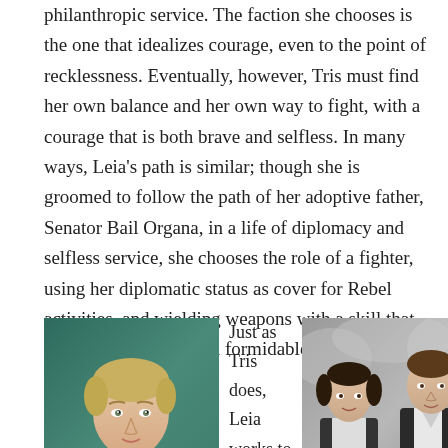philanthropic service. The faction she chooses is the one that idealizes courage, even to the point of recklessness. Eventually, however, Tris must find her own balance and her own way to fight, with a courage that is both brave and selfless. In many ways, Leia’s path is similar; though she is groomed to follow the path of her adoptive father, Senator Bail Organa, in a life of diplomacy and selfless service, she chooses the role of a fighter, using her diplomatic status as cover for Rebel activities, and wielding weapons with a skill that would have made her a formidable Dauntless initiate.
[Figure (photo): Portrait of a young woman with short blonde hair wearing a green top, likely an actress portraying Tris.]
Just as Tris does, Leia works to balance her roles, realizing that fighting is not always the answer. Like Leia, Tris is drawn to and falls in love with a
[Figure (photo): Photo of Princess Leia and Han Solo characters from Star Wars standing together.]